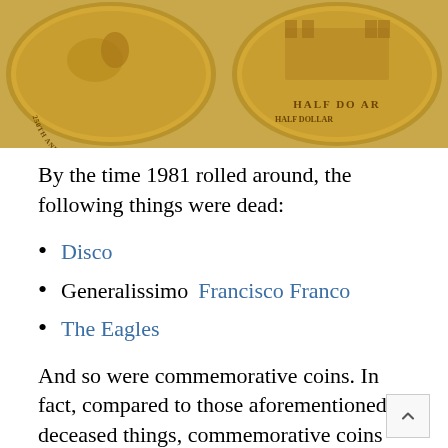[Figure (photo): Two gold commemorative coins side by side: left coin shows a figure on horseback with text '250th Anniversary of Birth', right coin shows a castle/building with text 'Half Dollar']
By the time 1981 rolled around, the following things were dead:
Disco
Generalissimo Francisco Franco
The Eagles
And so were commemorative coins. In fact, compared to those aforementioned deceased things, commemorative coins had been in the ground the longest, thanks to a glut of offerings with limited appeal that killed the market for much of the